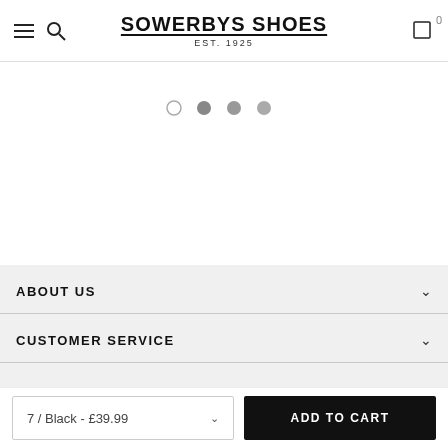SOWERBYS SHOES EST. 1925
[Figure (other): Carousel navigation dots: one empty circle and three filled grey circles]
ABOUT US
CUSTOMER SERVICE
7 / Black - £39.99
ADD TO CART